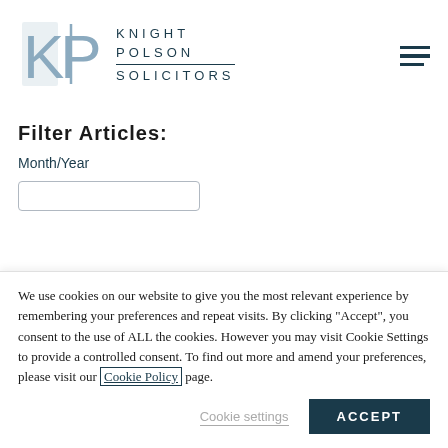[Figure (logo): Knight Polson Solicitors logo with KP monogram in steel blue and firm name in dark teal]
Filter Articles:
Month/Year
We use cookies on our website to give you the most relevant experience by remembering your preferences and repeat visits. By clicking “Accept”, you consent to the use of ALL the cookies. However you may visit Cookie Settings to provide a controlled consent. To find out more and amend your preferences, please visit our Cookie Policy page.
Cookie settings
ACCEPT